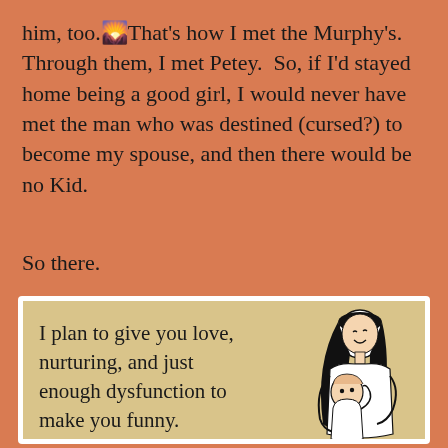him, too. That's how I met the Murphy's. Through them, I met Petey.  So, if I'd stayed home being a good girl, I would never have met the man who was destined (cursed?) to become my spouse, and then there would be no Kid.
So there.
[Figure (illustration): A greeting-card style illustration (ecards style) on a tan/beige background. On the left side is text reading 'I plan to give you love, nurturing, and just enough dysfunction to make you funny.' On the right side is a black-and-white line drawing of a woman with long dark hair hugging/holding a young child who is smiling.]